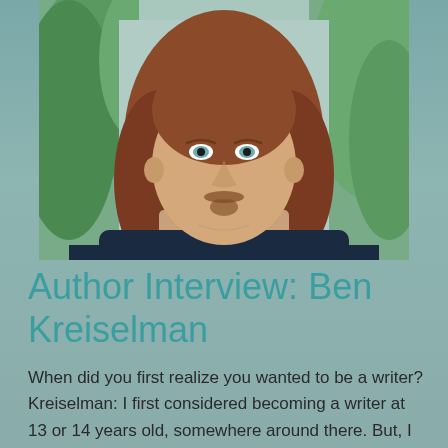[Figure (photo): Headshot of a man with long reddish-brown hair, a goatee, blue eyes, wearing a dark jacket, with green plant foliage in the background]
Author Interview: Ben Kreiselman
When did you first realize you wanted to be a writer? Kreiselman: I first considered becoming a writer at 13 or 14 years old, somewhere around there. But, I never really gave it a